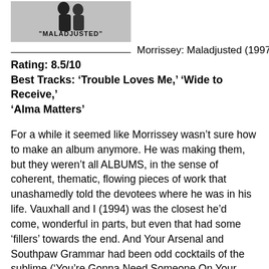[Figure (photo): Album cover for Morrissey: Maladjusted (1997), showing a grey background with a figure and the text MALADJUSTED]
Morrissey: Maladjusted (1997)
Rating: 8.5/10
Best Tracks: ‘Trouble Loves Me,’ ‘Wide to Receive,’ ‘Alma Matters’
For a while it seemed like Morrissey wasn’t sure how to make an album anymore. He was making them, but they weren’t all ALBUMS, in the sense of coherent, thematic, flowing pieces of work that unashamedly told the devotees where he was in his life. Vauxhall and I (1994) was the closest he’d come, wonderful in parts, but even that had some ‘fillers’ towards the end. And Your Arsenal and Southpaw Grammar had been odd cocktails of the sublime (‘You’re Gonna Need Someone On Your Side,’ ‘The Teachers are Afraid of the Pupils’)